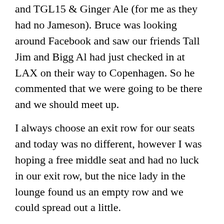and TGL15 & Ginger Ale (for me as they had no Jameson). Bruce was looking around Facebook and saw our friends Tall Jim and Bigg Al had just checked in at LAX on their way to Copenhagen. So he commented that we were going to be there and we should meet up.
I always choose an exit row for our seats and today was no different, however I was hoping a free middle seat and had no luck in our exit row, but the nice lady in the lounge found us an empty row and we could spread out a little.